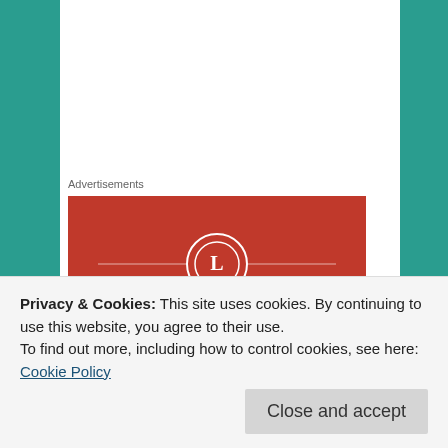Advertisements
[Figure (logo): Longreads advertisement banner with red background, circular L logo, brand name LONGREADS, and tagline 'The best stories on']
Caro Wara
March 22, 2016 at 6:54 pm
Privacy & Cookies: This site uses cookies. By continuing to use this website, you agree to their use.
To find out more, including how to control cookies, see here: Cookie Policy